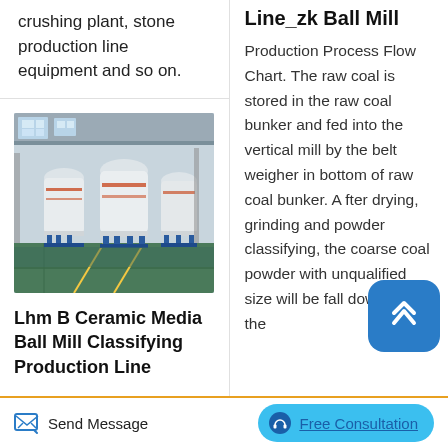crushing plant, stone production line equipment and so on.
[Figure (photo): Industrial factory floor showing several large white vertical ball mill machines on blue stands, in a warehouse with green epoxy floor]
Lhm B Ceramic Media Ball Mill Classifying Production Line
Line_zk Ball Mill
Production Process Flow Chart. The raw coal is stored in the raw coal bunker and fed into the vertical mill by the belt weigher in bottom of raw coal bunker. After drying, grinding and powder classifying, the coarse coal powder with unqualified size will be fall down onto the
Send Message    Free Consultation